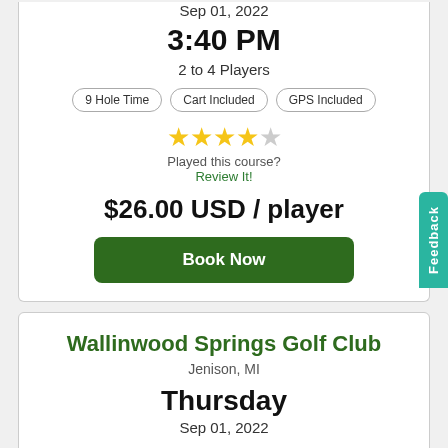Sep 01, 2022
3:40 PM
2 to 4 Players
9 Hole Time | Cart Included | GPS Included
[Figure (other): 3.5 out of 5 stars rating]
Played this course?
Review It!
$26.00 USD / player
Book Now
Wallinwood Springs Golf Club
Jenison, MI
Thursday
Sep 01, 2022